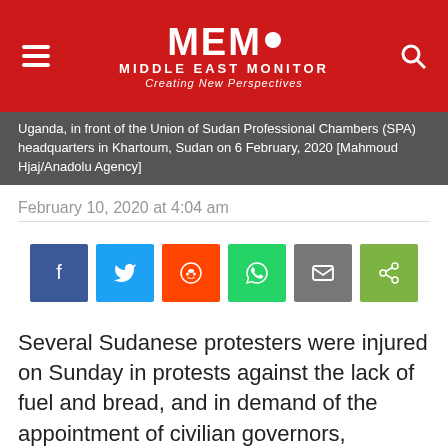MEMO MIDDLE EAST MONITOR Creating New Perspectives
Demonstrators with minister of state, Benjamin Aloysios, in Uganda, in front of the Union of Sudan Professional Chambers (SPA) headquarters in Khartoum, Sudan on 6 February, 2020 [Mahmoud Hjaj/Anadolu Agency]
February 10, 2020 at 4:04 am
[Figure (other): Social media share buttons: Facebook, Twitter, Reddit, WhatsApp, Email, Share]
Several Sudanese protesters were injured on Sunday in protests against the lack of fuel and bread, and in demand of the appointment of civilian governors, interspersed with clashes between police and protesters, in two